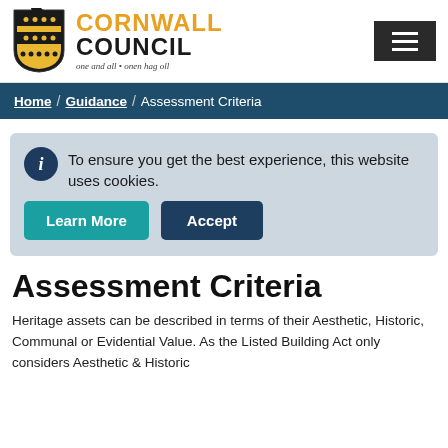[Figure (logo): Cornwall Council logo with shield/coat of arms, magpie on top, and text CORNWALL COUNCIL one and all • onen hag oll]
Home / Guidance / Assessment Criteria
To ensure you get the best experience, this website uses cookies.
Assessment Criteria
Heritage assets can be described in terms of their Aesthetic, Historic, Communal or Evidential Value. As the Listed Building Act only considers Aesthetic & Historic